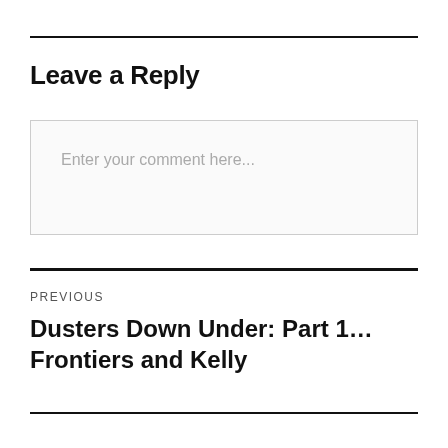Leave a Reply
Enter your comment here...
PREVIOUS
Dusters Down Under: Part 1… Frontiers and Kelly